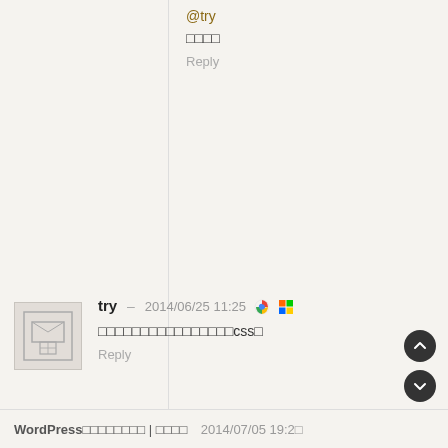@try
□□□□
Reply
try – 2014/06/25 11:25
□□□□□□□□□□□□□□□□css□
Reply
zwwooooo – 2014/06/25 22:21
@try
□□□□□□□□□□□□□□□□
Reply
WordPress□□□□□□□□ | □□□□  2014/07/05 19:2□